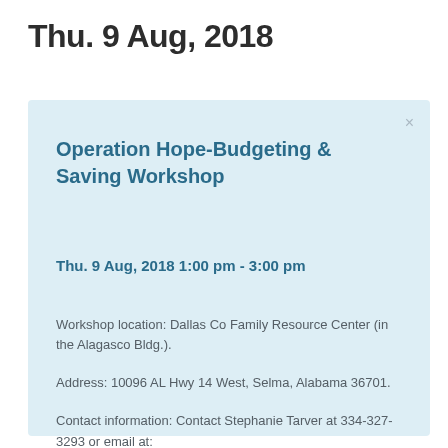Thu. 9 Aug, 2018
Operation Hope-Budgeting & Saving Workshop
Thu. 9 Aug, 2018 1:00 pm - 3:00 pm
Workshop location: Dallas Co Family Resource Center (in the Alagasco Bldg.).
Address: 10096 AL Hwy 14 West, Selma, Alabama 36701.
Contact information: Contact Stephanie Tarver at 334-327-3293 or email at: